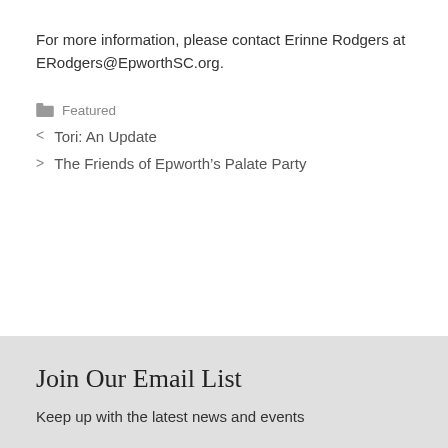For more information, please contact Erinne Rodgers at ERodgers@EpworthSC.org.
Featured
< Tori: An Update
> The Friends of Epworth's Palate Party
Join Our Email List
Keep up with the latest news and events